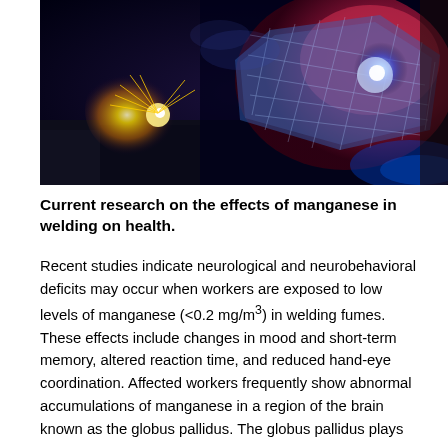[Figure (photo): Close-up photograph of a welder at work, with bright blue and orange welding sparks and arc light visible through a welding helmet visor. The image shows electric arc welding with intense light and fumes.]
Current research on the effects of manganese in welding on health.
Recent studies indicate neurological and neurobehavioral deficits may occur when workers are exposed to low levels of manganese (<0.2 mg/m3) in welding fumes. These effects include changes in mood and short-term memory, altered reaction time, and reduced hand-eye coordination. Affected workers frequently show abnormal accumulations of manganese in a region of the brain known as the globus pallidus. The globus pallidus plays